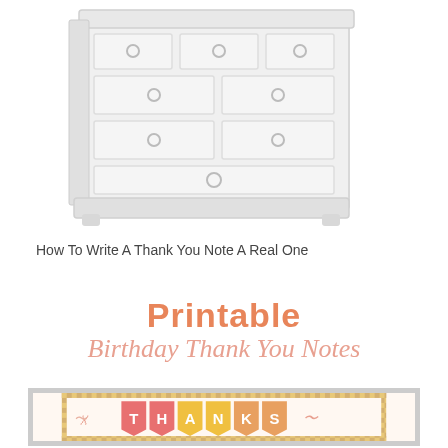[Figure (illustration): White wooden dresser/chest of drawers illustration, shown at slight angle, with multiple drawers and round ring pull handles]
How To Write A Thank You Note A Real One
[Figure (infographic): Printable Birthday Thank You Notes graphic. Shows the word 'Printable' in bold orange, 'Birthday Thank You Notes' in salmon italic script font below it, and a card with checkered border containing colorful pennant banner flags spelling 'THANKS' with decorative swirls]